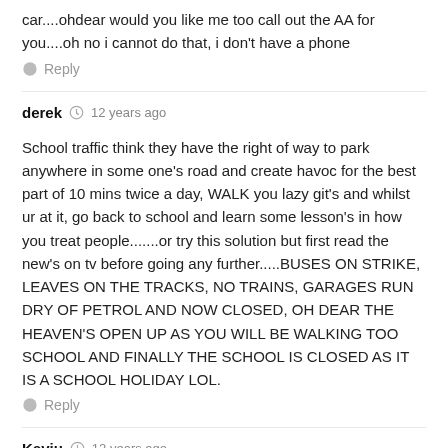car....ohdear would you like me too call out the AA for you....oh no i cannot do that, i don't have a phone
Reply
derek · 12 years ago
School traffic think they have the right of way to park anywhere in some one's road and create havoc for the best part of 10 mins twice a day, WALK you lazy git's and whilst ur at it, go back to school and learn some lesson's in how you treat people.......or try this solution but first read the new's on tv before going any further.....BUSES ON STRIKE, LEAVES ON THE TRACKS, NO TRAINS, GARAGES RUN DRY OF PETROL AND NOW CLOSED, OH DEAR THE HEAVEN'S OPEN UP AS YOU WILL BE WALKING TOO SCHOOL AND FINALLY THE SCHOOL IS CLOSED AS IT IS A SCHOOL HOLIDAY LOL.
Reply
Keviu · 12 years ago